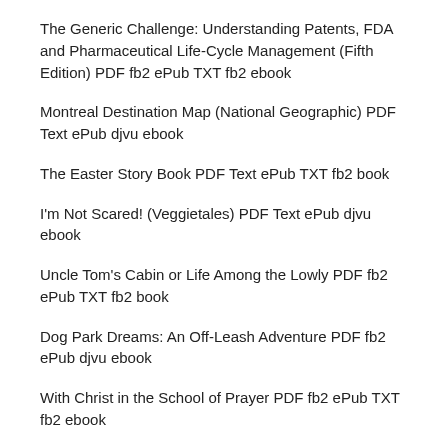The Generic Challenge: Understanding Patents, FDA and Pharmaceutical Life-Cycle Management (Fifth Edition) PDF fb2 ePub TXT fb2 ebook
Montreal Destination Map (National Geographic) PDF Text ePub djvu ebook
The Easter Story Book PDF Text ePub TXT fb2 book
I'm Not Scared! (Veggietales) PDF Text ePub djvu ebook
Uncle Tom's Cabin or Life Among the Lowly PDF fb2 ePub TXT fb2 book
Dog Park Dreams: An Off-Leash Adventure PDF fb2 ePub djvu ebook
With Christ in the School of Prayer PDF fb2 ePub TXT fb2 ebook
Proceedings of the Re-union of Apple's Church and of the Boehm Family, Celebrated at Apple's or New Jerusalem Reformed and Lutheran Church, Leithsville, Northampton County, Pa., September 14, 1895 PDF fb2 ePub djvu ebook